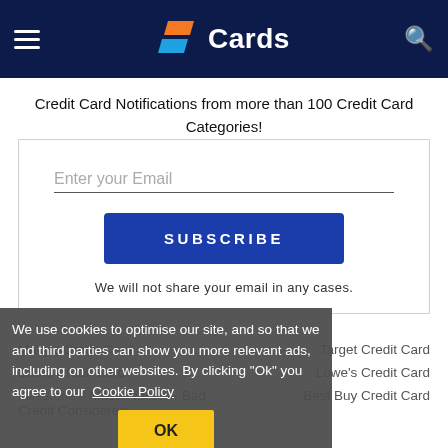Cards
Credit Card Notifications from more than 100 Credit Card Categories!
Enter your Email
SUBSCRIBE
We will not share your email in any cases.
We use cookies to optimise our site, and so that we and third parties can show you more relevant ads, including on other websites. By clicking "Ok" you agree to our Cookie Policy
Macy's Credit Card
Target Credit Card
Sams Credit Card
Lowe's Credit Card
Milestone® Mastercard® – Bad Credit Considered
Best Buy Credit Card